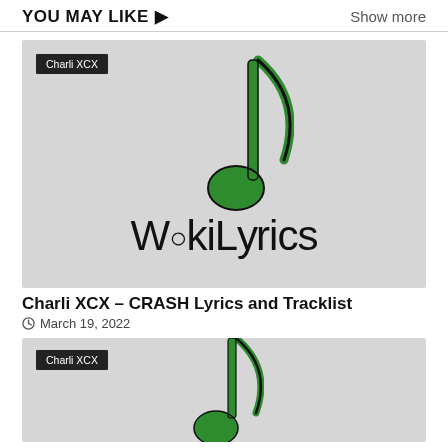YOU MAY LIKE ▶   Show more
[Figure (illustration): WikiLyrics placeholder image with green music note and 'WikiLyrics' text on grey background, tagged Charli XCX]
Charli XCX – CRASH Lyrics and Tracklist
March 19, 2022
[Figure (illustration): WikiLyrics placeholder image partial view with green music note on grey background, tagged Charli XCX]